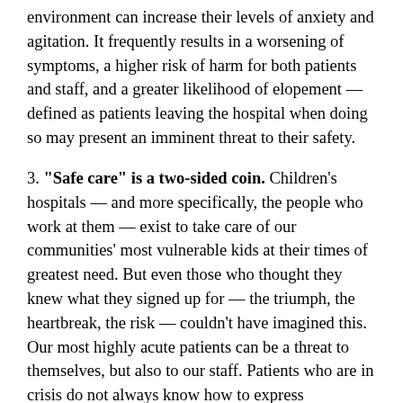environment can increase their levels of anxiety and agitation. It frequently results in a worsening of symptoms, a higher risk of harm for both patients and staff, and a greater likelihood of elopement — defined as patients leaving the hospital when doing so may present an imminent threat to their safety.
3. "Safe care" is a two-sided coin. Children's hospitals — and more specifically, the people who work at them — exist to take care of our communities' most vulnerable kids at their times of greatest need. But even those who thought they knew what they signed up for — the triumph, the heartbreak, the risk — couldn't have imagined this. Our most highly acute patients can be a threat to themselves, but also to our staff. Patients who are in crisis do not always know how to express themselves. At times they lash out, and several have inflicted extensive harm on many of our frontline team members. With the growing shortage of health care